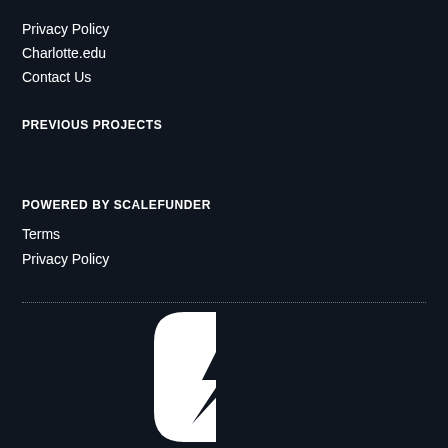Privacy Policy
Charlotte.edu
Contact Us
PREVIOUS PROJECTS
POWERED BY SCALEFUNDER
Terms
Privacy Policy
[Figure (logo): University of Charlotte logo — white letter C mark above the word CHARLOTTE in white serif capitals on dark background]